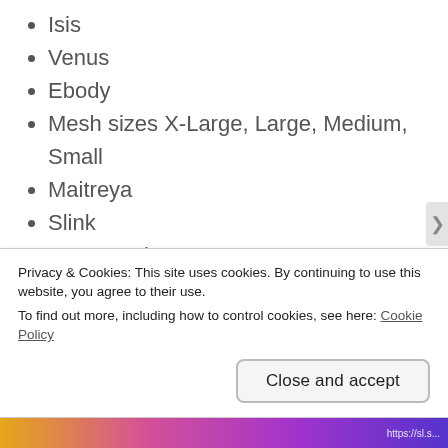Isis
Venus
Ebody
Mesh sizes X-Large, Large, Medium, Small
Maitreya
Slink
Hourglass
Physique
TMP
Tonic
Curvy
Fine
Privacy & Cookies: This site uses cookies. By continuing to use this website, you agree to their use.
To find out more, including how to control cookies, see here: Cookie Policy
Close and accept